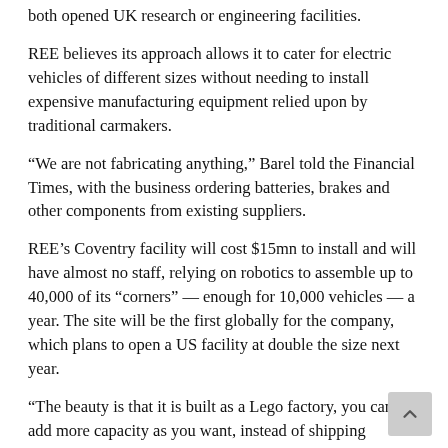both opened UK research or engineering facilities.
REE believes its approach allows it to cater for electric vehicles of different sizes without needing to install expensive manufacturing equipment relied upon by traditional carmakers.
“We are not fabricating anything,” Barel told the Financial Times, with the business ordering batteries, brakes and other components from existing suppliers.
REE’s Coventry facility will cost $15mn to install and will have almost no staff, relying on robotics to assemble up to 40,000 of its “corners” — enough for 10,000 vehicles — a year. The site will be the first globally for the company, which plans to open a US facility at double the size next year.
“The beauty is that it is built as a Lego factory, you can add more capacity as you want, instead of shipping globally from one gigaplant,” Barel said.
The company also has an engineering base in Nuneaton, near Coventry.